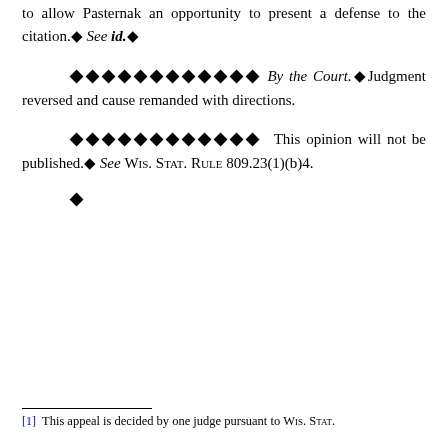to allow Pasternak an opportunity to present a defense to the citation.  See id.
◆◆◆◆◆◆◆◆◆◆◆◆ By the Court. Judgment reversed and cause remanded with directions.
◆◆◆◆◆◆◆◆◆◆◆◆ This opinion will not be published.  See Wis. Stat. Rule 809.23(1)(b)4.
◆
[1] This appeal is decided by one judge pursuant to Wis. Stat.